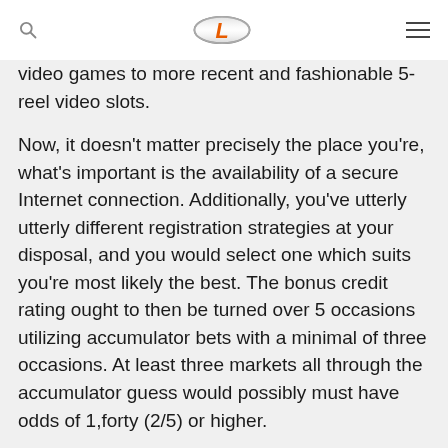[Logo: L] [Search icon] [Menu icon]
video games to more recent and fashionable 5-reel video slots.
Now, it doesn't matter precisely the place you're, what's important is the availability of a secure Internet connection. Additionally, you've utterly utterly different registration strategies at your disposal, and you would select one which suits you're most likely the best. The bonus credit rating ought to then be turned over 5 occasions utilizing accumulator bets with a minimal of three occasions. At least three markets all through the accumulator guess would possibly must have odds of 1,forty (2/5) or higher.